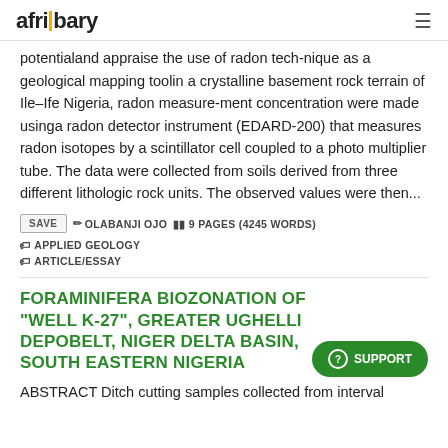afribary
potentialand appraise the use of radon tech-nique as a geological mapping toolin a crystalline basement rock terrain of Ile–Ife Nigeria, radon measure-ment concentration were made usinga radon detector instrument (EDARD-200) that measures radon isotopes by a scintillator cell coupled to a photo multiplier tube. The data were collected from soils derived from three different lithologic rock units. The observed values were then...
SAVE  OLABANJI OJO  9 PAGES (4245 WORDS)  APPLIED GEOLOGY  ARTICLE/ESSAY
FORAMINIFERA BIOZONATION OF "WELL K-27", GREATER UGHELLI DEPOBELT, NIGER DELTA BASIN, SOUTH EASTERN NIGERIA
ABSTRACT Ditch cutting samples collected from interval